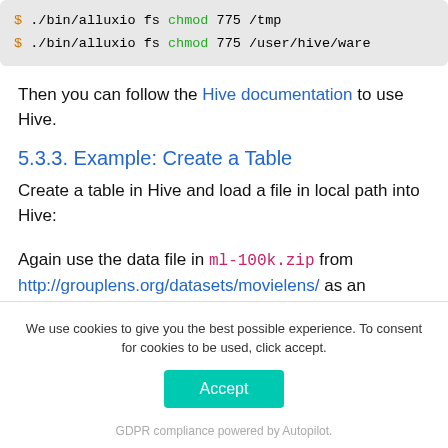$ ./bin/alluxio fs chmod 775 /tmp
$ ./bin/alluxio fs chmod 775 /user/hive/ware
Then you can follow the Hive documentation to use Hive.
5.3.3. Example: Create a Table
Create a table in Hive and load a file in local path into Hive:
Again use the data file in ml-100k.zip from http://grouplens.org/datasets/movielens/ as an
We use cookies to give you the best possible experience. To consent for cookies to be used, click accept.
Accept
GDPR compliance powered by Autopilot.